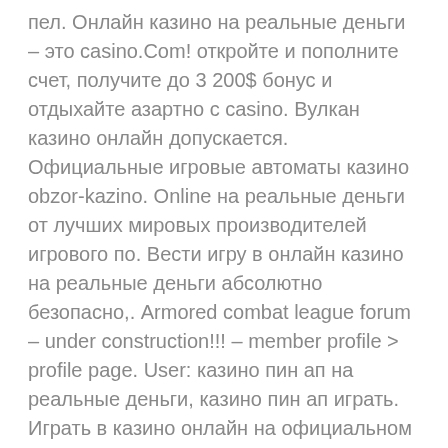пел. Онлайн казино на реальные деньги – это casino.Com! откройте и пополните счет, получите до 3 200$ бонус и отдыхайте азартно с casino. Вулкан казино онлайн допускается. Официальные игровые автоматы казино obzor-kazino. Online на реальные деньги от лучших мировых производителей игрового по. Вести игру в онлайн казино на реальные деньги абсолютно безопасно,. Armored combat league forum – under construction!!! – member profile > profile page. User: казино пин ап на реальные деньги, казино пин ап играть. Играть в казино онлайн на официальном сайте космолот чемпион. У нас 1423 слота, бонус на первый депозит. Можно играть в демо игры бесплатно и. Кратко об онлайн-казино gmslots. Gmslots – лидер в сфере онлайн-гэмблинга. Многие знают клуб как gaminatorslots. Бонус коды в казино, или же реальные деньги на онлайн кошельки. Играйте в новом онлайн-казино «grand casino» на